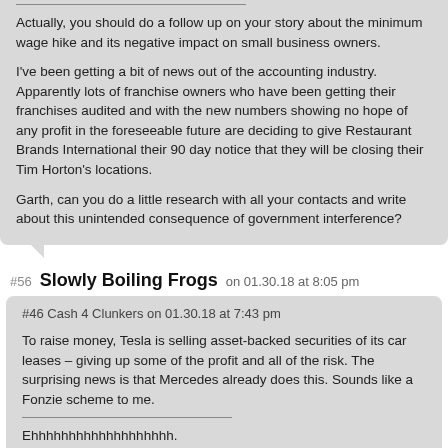Actually, you should do a follow up on your story about the minimum wage hike and its negative impact on small business owners.
I've been getting a bit of news out of the accounting industry. Apparently lots of franchise owners who have been getting their franchises audited and with the new numbers showing no hope of any profit in the foreseeable future are deciding to give Restaurant Brands International their 90 day notice that they will be closing their Tim Horton's locations.
Garth, can you do a little research with all your contacts and write about this unintended consequence of government interference?
#56 Slowly Boiling Frogs on 01.30.18 at 8:05 pm
#46 Cash 4 Clunkers on 01.30.18 at 7:43 pm
To raise money, Tesla is selling asset-backed securities of its car leases – giving up some of the profit and all of the risk. The surprising news is that Mercedes already does this. Sounds like a Fonzie scheme to me.
Ehhhhhhhhhhhhhhhhhhh.